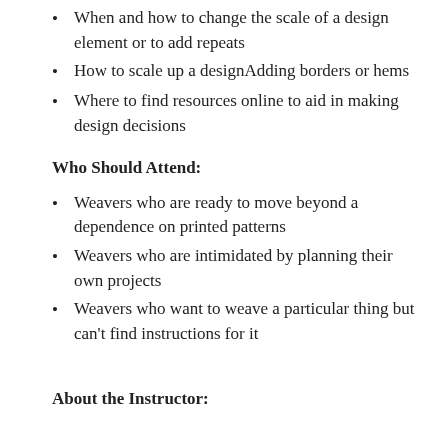When and how to change the scale of a design element or to add repeats
How to scale up a designAdding borders or hems
Where to find resources online to aid in making design decisions
Who Should Attend:
Weavers who are ready to move beyond a dependence on printed patterns
Weavers who are intimidated by planning their own projects
Weavers who want to weave a particular thing but can't find instructions for it
About the Instructor: